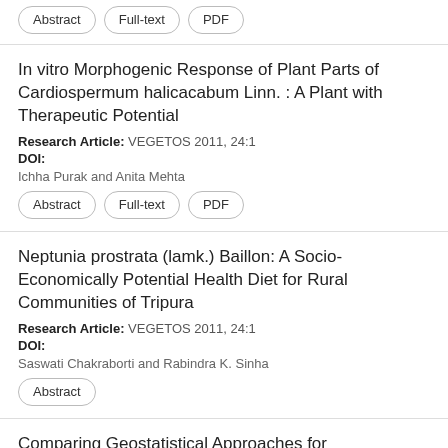Abstract | Full-text | PDF
In vitro Morphogenic Response of Plant Parts of Cardiospermum halicacabum Linn. : A Plant with Therapeutic Potential
Research Article: VEGETOS 2011, 24:1
DOI:
Ichha Purak and Anita Mehta
Abstract | Full-text | PDF
Neptunia prostrata (lamk.) Baillon: A Socio-Economically Potential Health Diet for Rural Communities of Tripura
Research Article: VEGETOS 2011, 24:1
DOI:
Saswati Chakraborti and Rabindra K. Sinha
Abstract
Comparing Geostatistical Approaches for